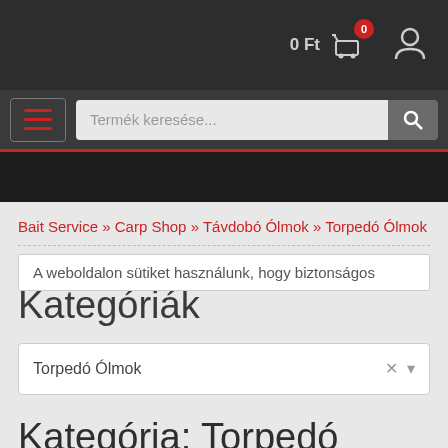0 Ft [cart icon with badge: 0] [user icon]
Termék keresése... [search button]
Bait Service » Carp Shop » Távdobó Ólmok » Torpedó Ólmok
A weboldalon sütiket használunk, hogy biztonságos
Kategóriák
Torpedó Ólmok
Kategória: Torpedó Ólmok